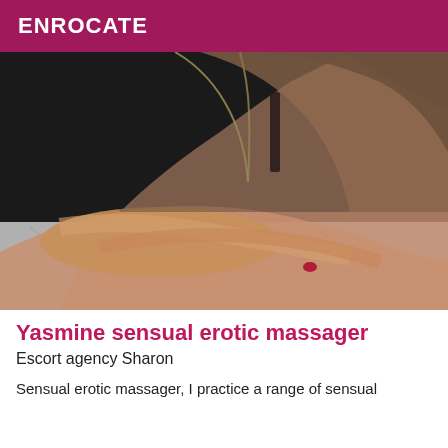ENROCATE
[Figure (photo): A woman with dark hair wearing a necklace and dark strap top, leaning forward with crossed arms resting on a grey fur surface, photographed against a dark background.]
Yasmine sensual erotic massager
Escort agency Sharon
Sensual erotic massager, I practice a range of sensual